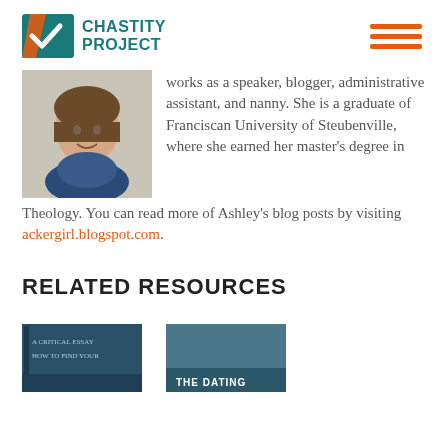[Figure (logo): Chastity Project logo with teal geometric icon and teal uppercase text]
[Figure (other): Hamburger menu icon with three orange horizontal lines]
[Figure (photo): Portrait photo of a young woman smiling, wearing a blue scarf]
works as a speaker, blogger, administrative assistant, and nanny. She is a graduate of Franciscan University of Steubenville, where she earned her master’s degree in Theology. You can read more of Ashley’s blog posts by visiting ackergirl.blogspot.com.
RELATED RESOURCES
[Figure (photo): Partial view of a book cover with blue tones, text partially visible: 'A Critical Essay How to Find Your']
[Figure (photo): Partial view of a book cover, text visible: 'THE DATING']